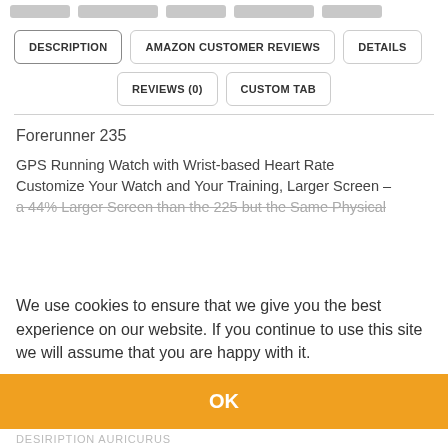[Figure (screenshot): Grey placeholder thumbnail bar at top of page]
DESCRIPTION | AMAZON CUSTOMER REVIEWS | DETAILS | REVIEWS (0) | CUSTOM TAB
Forerunner 235
GPS Running Watch with Wrist-based Heart Rate Customize Your Watch and Your Training, Larger Screen – a 44% Larger Screen than the 225 but the Same Physical
We use cookies to ensure that we give you the best experience on our website. If you continue to use this site we will assume that you are happy with it.
OK
DESIRIPTION AURICURUS